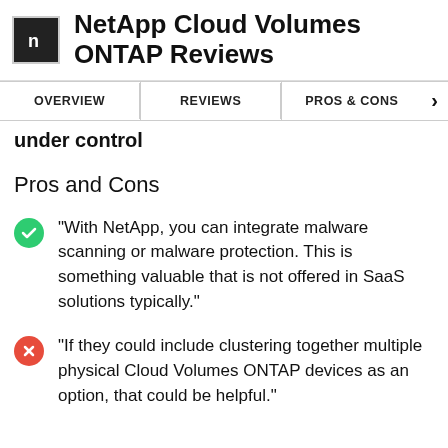NetApp Cloud Volumes ONTAP Reviews
OVERVIEW | REVIEWS | PROS & CONS
under control
Pros and Cons
"With NetApp, you can integrate malware scanning or malware protection. This is something valuable that is not offered in SaaS solutions typically."
"If they could include clustering together multiple physical Cloud Volumes ONTAP devices as an option, that could be helpful."